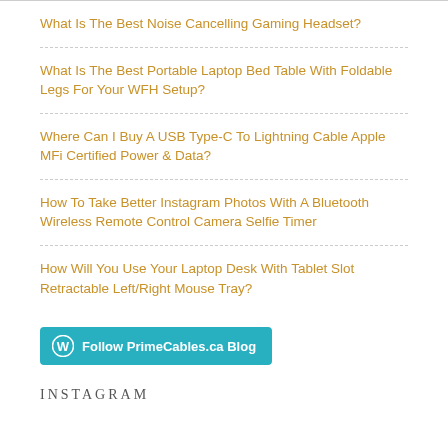What Is The Best Noise Cancelling Gaming Headset?
What Is The Best Portable Laptop Bed Table With Foldable Legs For Your WFH Setup?
Where Can I Buy A USB Type-C To Lightning Cable Apple MFi Certified Power & Data?
How To Take Better Instagram Photos With A Bluetooth Wireless Remote Control Camera Selfie Timer
How Will You Use Your Laptop Desk With Tablet Slot Retractable Left/Right Mouse Tray?
Follow PrimeCables.ca Blog
INSTAGRAM